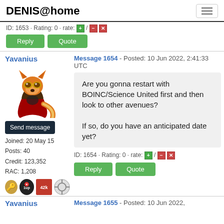DENIS@home
ID: 1653 · Rating: 0 · rate: [+] / [-] [x]
Reply | Quote
Yavanius
Message 1654 - Posted: 10 Jun 2022, 2:41:33 UTC
Are you gonna restart with BOINC/Science United first and then look to other avenues?

If so, do you have an anticipated date yet?
Send message
Joined: 20 May 15
Posts: 40
Credit: 123,352
RAC: 1,208
ID: 1654 · Rating: 0 · rate: [+] / [-] [x]
Reply | Quote
Yavanius
Message 1655 - Posted: 10 Jun 2022,